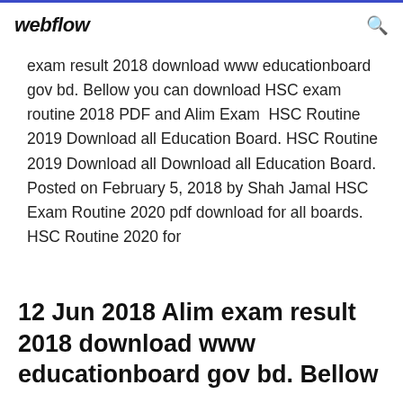webflow
exam result 2018 download www educationboard gov bd. Bellow you can download HSC exam routine 2018 PDF and Alim Exam  HSC Routine 2019 Download all Education Board. HSC Routine 2019 Download all Download all Education Board. Posted on February 5, 2018 by Shah Jamal HSC Exam Routine 2020 pdf download for all boards. HSC Routine 2020 for
12 Jun 2018 Alim exam result 2018 download www educationboard gov bd. Bellow